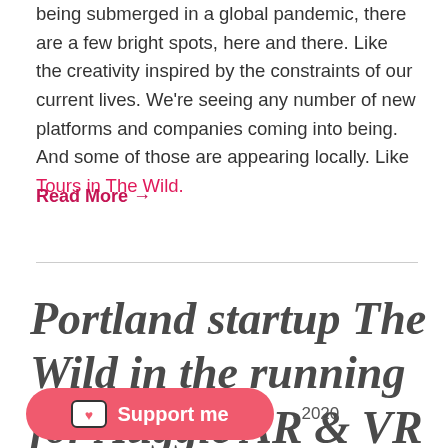being submerged in a global pandemic, there are a few bright spots, here and there. Like the creativity inspired by the constraints of our current lives. We're seeing any number of new platforms and companies coming into being. And some of those are appearing locally. Like Tours in The Wild.
Read More →
Portland startup The Wild in the running for Auggie AR & VR award
, 2020